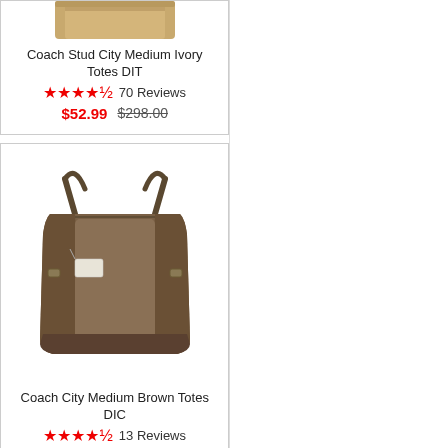[Figure (photo): Coach Stud City Medium Ivory Tote bag product image (partial, top portion visible)]
Coach Stud City Medium Ivory Totes DIT
★★★★½  70 Reviews
$52.99  $298.00
[Figure (photo): Coach City Medium Brown Tote bag product image, brown leather shoulder bag with tag]
Coach City Medium Brown Totes DIC
★★★★½  13 Reviews
$54.99  $328.00